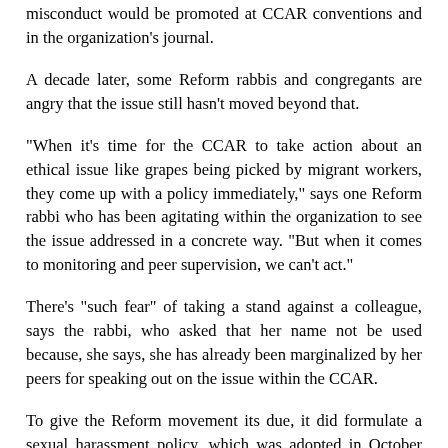misconduct would be promoted at CCAR conventions and in the organization's journal.
A decade later, some Reform rabbis and congregants are angry that the issue still hasn't moved beyond that.
"When it's time for the CCAR to take action about an ethical issue like grapes being picked by migrant workers, they come up with a policy immediately," says one Reform rabbi who has been agitating within the organization to see the issue addressed in a concrete way. "But when it comes to monitoring and peer supervision, we can't act."
There's "such fear" of taking a stand against a colleague, says the rabbi, who asked that her name not be used because, she says, she has already been marginalized by her peers for speaking out on the issue within the CCAR.
To give the Reform movement its due, it did formulate a sexual harassment policy, which was adopted in October 1995.
Intended to help congregations draft their own sexual misconduct guidelines, a copy was sent to each Reform congregation's president, and